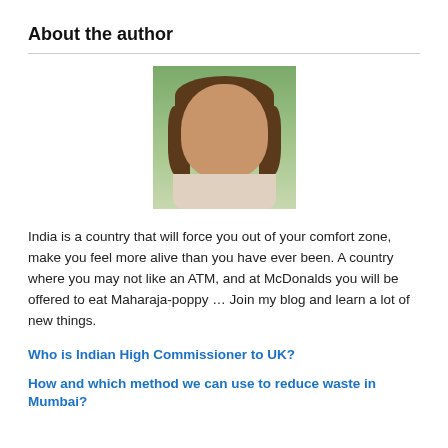About the author
[Figure (photo): Headshot of a smiling woman with brown hair, outdoors with green background]
India is a country that will force you out of your comfort zone, make you feel more alive than you have ever been. A country where you may not like an ATM, and at McDonalds you will be offered to eat Maharaja-poppy … Join my blog and learn a lot of new things.
Who is Indian High Commissioner to UK?
How and which method we can use to reduce waste in Mumbai?